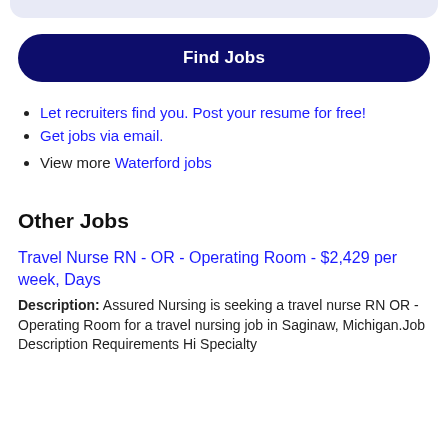[Figure (other): Light blue rounded top bar element at the top of the page]
Find Jobs
Let recruiters find you. Post your resume for free!
Get jobs via email.
View more Waterford jobs
Other Jobs
Travel Nurse RN - OR - Operating Room - $2,429 per week, Days
Description: Assured Nursing is seeking a travel nurse RN OR - Operating Room for a travel nursing job in Saginaw, Michigan.Job Description Requirements Hi Specialty